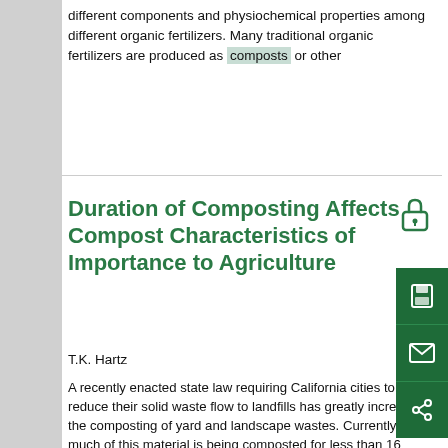different components and physiochemical properties among different organic fertilizers. Many traditional organic fertilizers are produced as composts or other
Duration of Composting Affects Compost Characteristics of Importance to Agriculture
T.K. Hartz
A recently enacted state law requiring California cities to reduce their solid waste flow to landfills has greatly increased the composting of yard and landscape wastes. Currently, much of this material is being composted for less than 16